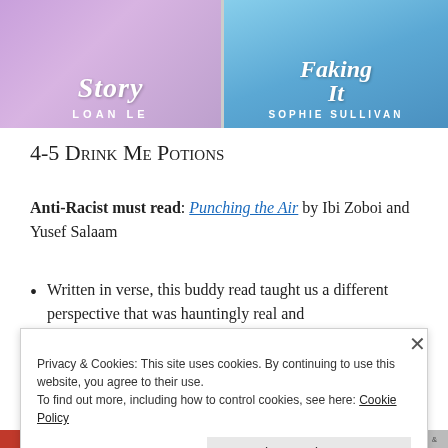[Figure (illustration): Two book covers side by side. Left: purple/lavender cover with 'Story' in white cursive and 'LOAN LE' in white spaced capitals. Right: blue cover with 'Faking It' in white italic and 'SOPHIE SULLIVAN' in white small-caps.]
4-5 Drink Me Potions
Anti-Racist must read: Punching the Air by Ibi Zoboi and Yusef Salaam
Written in verse, this buddy read taught us a different perspective that was hauntingly real and
Privacy & Cookies: This site uses cookies. By continuing to use this website, you agree to their use.
To find out more, including how to control cookies, see here: Cookie Policy
Close and accept